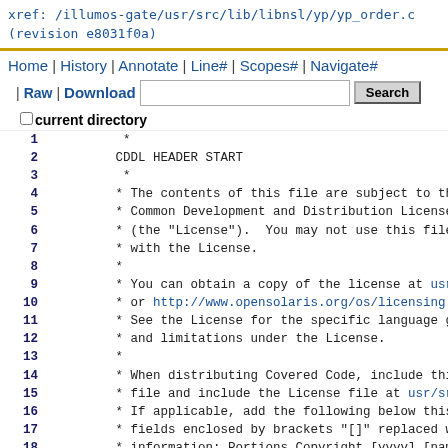xref: /illumos-gate/usr/src/lib/libnsl/yp/yp_order.c
(revision e8031f0a)
Home | History | Annotate | Line# | Scopes# | Navigate#
| Raw | Download   [search box]  Search
□ current directory
Lines 1-25 of source code for /illumos-gate/usr/src/lib/libnsl/yp/yp_order.c with CDDL license header
1  *
2   CDDL HEADER START
3  *
4   * The contents of this file are subject to the te
5   * Common Development and Distribution License, Ve
6   * (the "License").  You may not use this file exc
7   * with the License.
8   *
9   * You can obtain a copy of the license at usr/src
10  * or http://www.opensolaris.org/os/licensing .
11  * See the License for the specific language gover
12  * and limitations under the License.
13  *
14  * When distributing Covered Code, include this CD
15  * file and include the License file at usr/src/OP
16  * If applicable, add the following below this CDD
17  * fields enclosed by brackets "[]" replaced with
18  * information: Portions Copyright [yyyy] [name of
19  *
20  * CDDL HEADER END
21  */
22
23  /*
24  * Copyright 2006 Sun Microsystems, Inc.  All righ
25  * Use is subject to license terms.